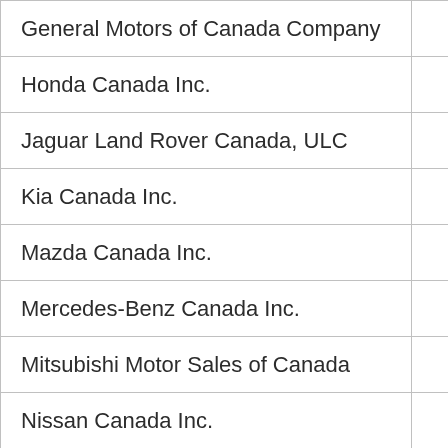| General Motors of Canada Company |  |
| Honda Canada Inc. |  |
| Jaguar Land Rover Canada, ULC |  |
| Kia Canada Inc. |  |
| Mazda Canada Inc. |  |
| Mercedes-Benz Canada Inc. |  |
| Mitsubishi Motor Sales of Canada |  |
| Nissan Canada Inc. |  |